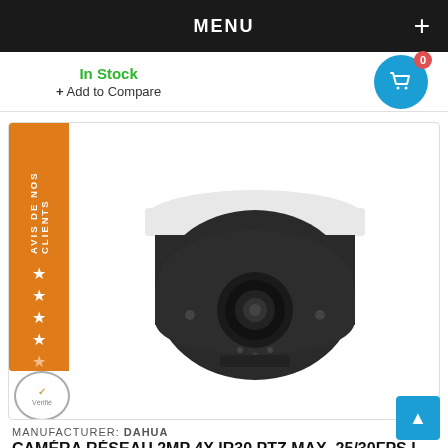MENU
In Stock
+ Add to Compare
[Figure (photo): Dahua PTZ dome camera, white top and black housing, front view showing lens]
AVIS DE NOS CLIENTS
MANUFACTURER: DAHUA
CAMÉRA RÉSEAU 2MP 4X IR30 PTZ MAX. 25/30FPS I